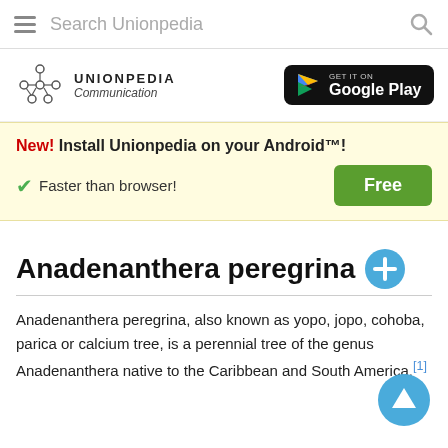Search Unionpedia
[Figure (logo): Unionpedia logo with network graph icon, text 'UNIONPEDIA Communication']
[Figure (logo): Google Play badge: GET IT ON Google Play]
New! Install Unionpedia on your Android™! ✓ Faster than browser! Free
Anadenanthera peregrina
Anadenanthera peregrina, also known as yopo, jopo, cohoba, parica or calcium tree, is a perennial tree of the genus Anadenanthera native to the Caribbean and South America.[1]